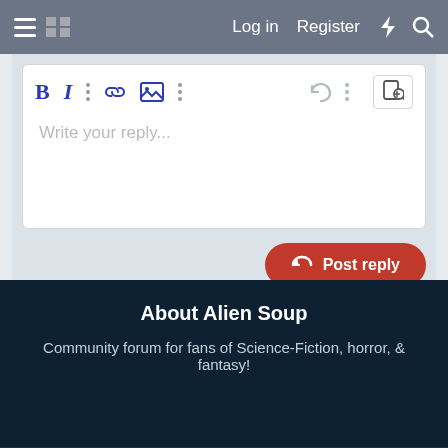Log in  Register
[Figure (screenshot): Forum reply text editor toolbar with Bold, Italic, dots, link, image, dots, undo, more, and preview icons, with placeholder text 'Write your reply...']
[Figure (screenshot): Post reply button (red rounded) with reply arrow icon]
Share:
[Figure (infographic): Share icons row: Facebook, Twitter, Reddit, Pinterest, Tumblr, WhatsApp, Email, Link]
< Open Chat 🗨
About Alien Soup
Community forum for fans of Science-Fiction, horror, & fantasy!